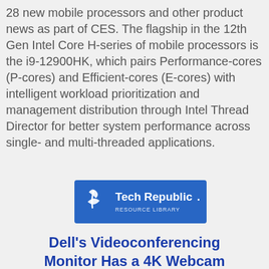28 new mobile processors and other product news as part of CES. The flagship in the 12th Gen Intel Core H-series of mobile processors is the i9-12900HK, which pairs Performance-cores (P-cores) and Efficient-cores (E-cores) with intelligent workload prioritization and management distribution through Intel Thread Director for better system performance across single- and multi-threaded applications.
[Figure (logo): TechRepublic logo — white text and wave icon on a blue rectangle background]
Dell's Videoconferencing Monitor Has a 4K Webcam